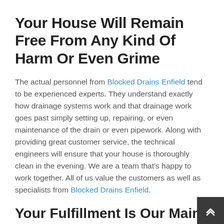Your House Will Remain Free From Any Kind Of Harm Or Even Grime
The actual personnel from Blocked Drains Enfield tend to be experienced experts. They understand exactly how drainage systems work and that drainage work goes past simply setting up, repairing, or even maintenance of the drain or even pipework. Along with providing great customer service, the technical engineers will ensure that your house is thoroughly clean in the evening. We are a team that's happy to work together. All of us value the customers as well as specialists from Blocked Drains Enfield.
Your Fulfillment Is Our Main Concern
We're prepared to guide you through the recommendations open to hear your recommendations before we begin the